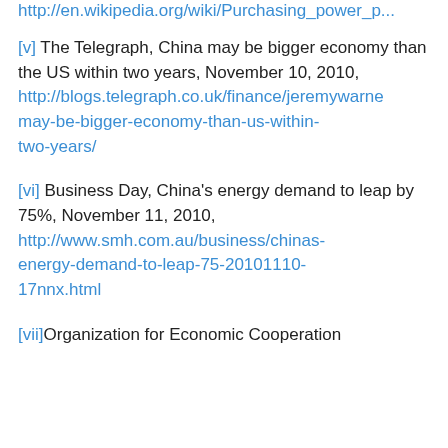http://en.wikipedia.org/wiki/Purchasing_power_p... (truncated, top of page)
[v] The Telegraph, China may be bigger economy than the US within two years, November 10, 2010, http://blogs.telegraph.co.uk/finance/jeremywarne... may-be-bigger-economy-than-us-within-two-years/
[vi] Business Day, China's energy demand to leap by 75%, November 11, 2010, http://www.smh.com.au/business/chinas-energy-demand-to-leap-75-20101110-17nnx.html
[vii] Organization for Economic Cooperation...